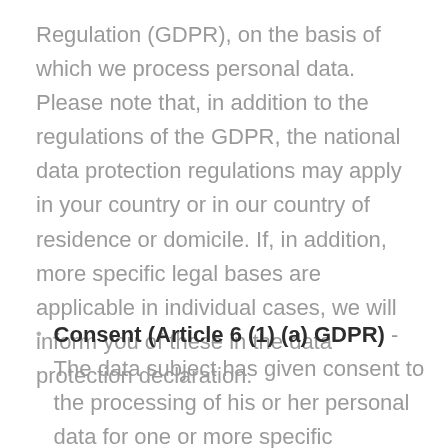Regulation (GDPR), on the basis of which we process personal data. Please note that, in addition to the regulations of the GDPR, the national data protection regulations may apply in your country or in our country of residence or domicile. If, in addition, more specific legal bases are applicable in individual cases, we will inform you of these in the data protection declaration.
Consent (Article 6 (1) (a) GDPR) - The data subject has given consent to the processing of his or her personal data for one or more specific purposes.